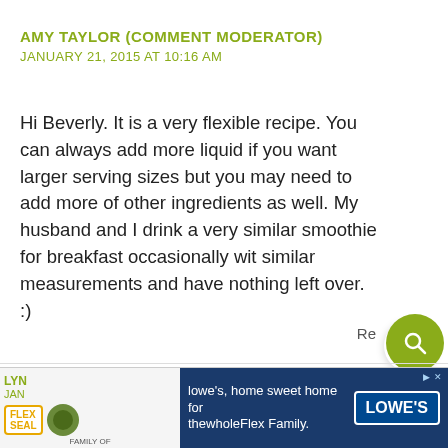AMY TAYLOR (COMMENT MODERATOR)
JANUARY 21, 2015 AT 10:16 AM
Hi Beverly. It is a very flexible recipe. You can always add more liquid if you want larger serving sizes but you may need to add more of other ingredients as well. My husband and I drink a very similar smoothie for breakfast occasionally wit similar measurements and have nothing left over. :)
[Figure (screenshot): Lowe's advertisement banner at bottom: Flex Seal logo on left, Lowe's logo and text 'lowe's, home sweet home for thewholeFlex Family.' on blue background]